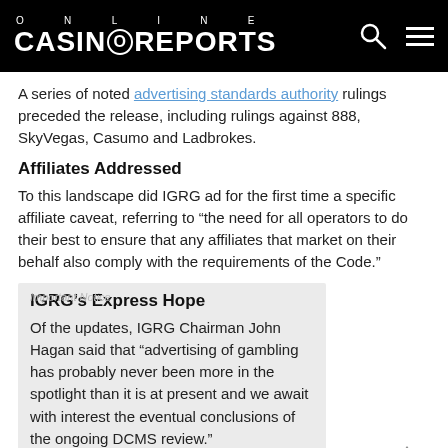ONLINE CASINOREPORTS
A series of noted advertising standards authority rulings preceded the release, including rulings against 888, SkyVegas, Casumo and Ladbrokes.
Affiliates Addressed
To this landscape did IGRG ad for the first time a specific affiliate caveat, referring to “the need for all operators to do their best to ensure that any affiliates that market on their behalf also comply with the requirements of the Code.”
IGRG’s Express Hope
Of the updates, IGRG Chairman John Hagan said that “advertising of gambling has probably never been more in the spotlight than it is at present and we await with interest the eventual conclusions of the ongoing DCMS review.”
About the Code